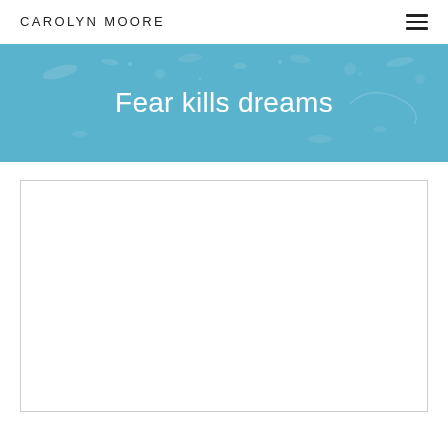CAROLYN MOORE
Fear kills dreams
[Figure (other): Empty white content box with light gray border, representing a placeholder or embedded content area below the hero banner]